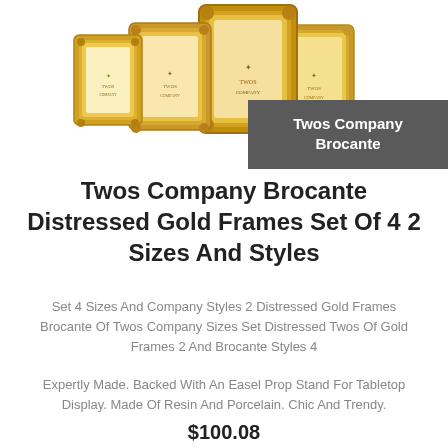[Figure (photo): Four gold distressed picture frames of varying sizes arranged together on a white background]
Twos Company Brocante
Twos Company Brocante Distressed Gold Frames Set Of 4 2 Sizes And Styles
Set 4 Sizes And Company Styles 2 Distressed Gold Frames Brocante Of Twos Company Sizes Set Distressed Twos Of Gold Frames 2 And Brocante Styles 4
Expertly Made. Backed With An Easel Prop Stand For Tabletop Display. Made Of Resin And Porcelain. Chic And Trendy.
$100.08